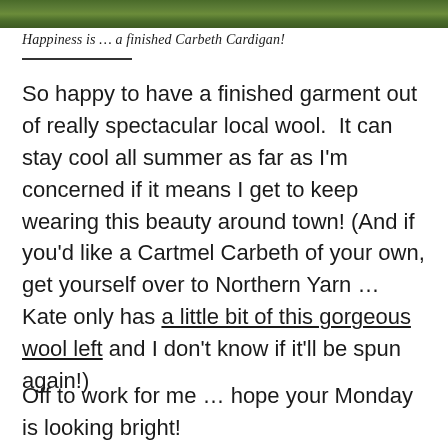[Figure (photo): Narrow horizontal strip of a photo showing green grass or outdoor scenery at the top of the page]
Happiness is … a finished Carbeth Cardigan!
So happy to have a finished garment out of really spectacular local wool.  It can stay cool all summer as far as I'm concerned if it means I get to keep wearing this beauty around town! (And if you'd like a Cartmel Carbeth of your own, get yourself over to Northern Yarn … Kate only has a little bit of this gorgeous wool left and I don't know if it'll be spun again!)
Off to work for me … hope your Monday is looking bright!